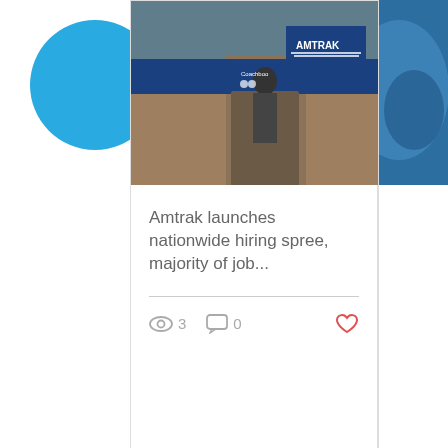[Figure (photo): Partial card on left showing a blue teardrop/circle shape on white background]
[Figure (photo): Center article card showing Amtrak train photo at top with blue and brown tones, Amtrak logo visible]
Amtrak launches nationwide hiring spree, majority of job...
3 views, 0 comments, heart/like button
[Figure (photo): Partial card on right showing blue earth/satellite image]
[Figure (infographic): Pagination indicator with 3 dots, first dot highlighted in blue]
[Figure (infographic): Dark blue footer area with Facebook and Twitter social media icons, and a back-to-top arrow button]